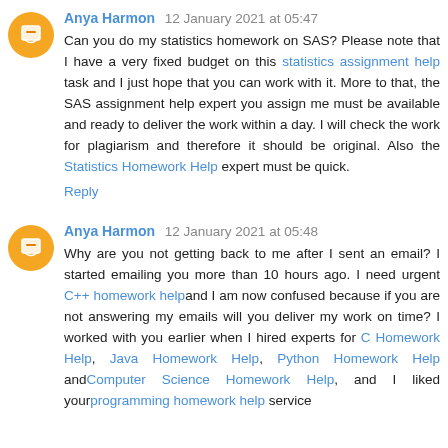Anya Harmon 12 January 2021 at 05:47
Can you do my statistics homework on SAS? Please note that I have a very fixed budget on this statistics assignment help task and I just hope that you can work with it. More to that, the SAS assignment help expert you assign me must be available and ready to deliver the work within a day. I will check the work for plagiarism and therefore it should be original. Also the Statistics Homework Help expert must be quick.
Reply
Anya Harmon 12 January 2021 at 05:48
Why are you not getting back to me after I sent an email? I started emailing you more than 10 hours ago. I need urgent C++ homework help and I am now confused because if you are not answering my emails will you deliver my work on time? I worked with you earlier when I hired experts for C Homework Help, Java Homework Help, Python Homework Help and Computer Science Homework Help, and I liked your programming homework help service